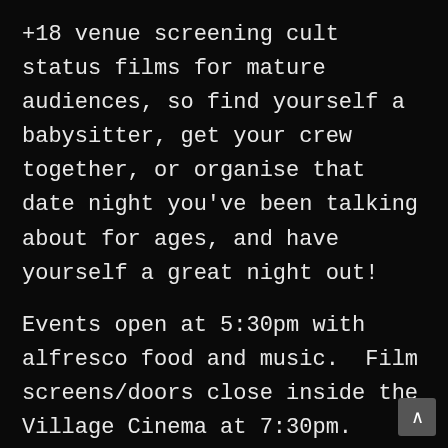+18 venue screening cult status films for mature audiences, so find yourself a babysitter, get your crew together, or organise that date night you've been talking about for ages, and have yourself a great night out!
Events open at 5:30pm with alfresco food and music.  Film screens/doors close inside the Village Cinema at 7:30pm.
Are you an independent film maker with a short film you've directed between 3 - 10 minutes